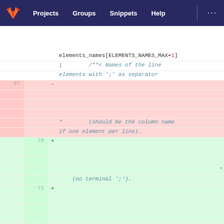GitLab navigation: Projects | Groups | Snippets | Help
[Figure (screenshot): Code diff view showing changes to elements_names array declaration and comments. Line 67 removed (red background), lines 70 and 71 added (green background). Code shows C-style documentation comments about elements_names with semicolons as separators, column names, and default indices.]